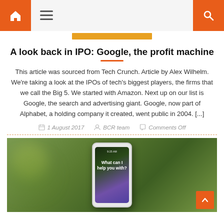[Header bar with home icon, menu icon, and search icon]
A look back in IPO: Google, the profit machine
This article was sourced from Tech Crunch. Article by Alex Wilhelm. We're taking a look at the IPOs of tech's biggest players, the firms that we call the Big 5. We started with Amazon. Next up on our list is Google, the search and advertising giant. Google, now part of Alphabet, a holding company it created, went public in 2004. [...]
1 August 2017  BCR team  Comments Off
[Figure (photo): A hand holding a white smartphone displaying a Siri screen with the text 'What can I help you with?' against a green blurred outdoor background.]